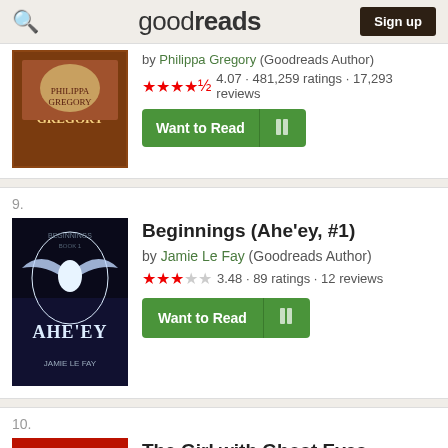goodreads — Sign up
by Philippa Gregory (Goodreads Author) ★★★★½ 4.07 · 481,259 ratings · 17,293 reviews
9. Beginnings (Ahe'ey, #1) by Jamie Le Fay (Goodreads Author) ★★★☆☆ 3.48 · 89 ratings · 12 reviews
10. The Girl with Ghost Eyes by M.H. Boroson ★★★★☆ 3.87 · 3,996 ratings · 708 reviews